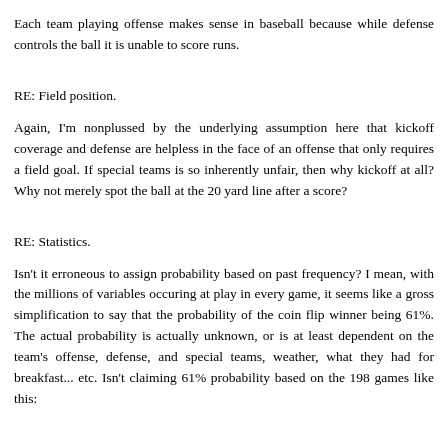Each team playing offense makes sense in baseball because while defense controls the ball it is unable to score runs.
RE: Field position.
Again, I'm nonplussed by the underlying assumption here that kickoff coverage and defense are helpless in the face of an offense that only requires a field goal. If special teams is so inherently unfair, then why kickoff at all? Why not merely spot the ball at the 20 yard line after a score?
RE: Statistics.
Isn't it erroneous to assign probability based on past frequency? I mean, with the millions of variables occuring at play in every game, it seems like a gross simplification to say that the probability of the coin flip winner being 61%. The actual probability is actually unknown, or is at least dependent on the team's offense, defense, and special teams, weather, what they had for breakfast... etc. Isn't claiming 61% probability based on the 198 games like this: